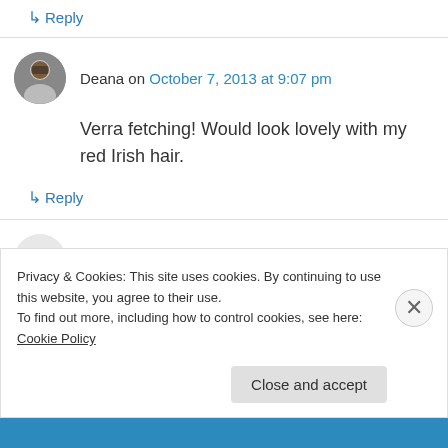↳ Reply
Deana on October 7, 2013 at 9:07 pm
Verra fetching! Would look lovely with my red Irish hair.
↳ Reply
Erin Swayze on October 7, 2013 at 9:08 pm
Well done! It's quite lovely. I would love to be
Privacy & Cookies: This site uses cookies. By continuing to use this website, you agree to their use.
To find out more, including how to control cookies, see here: Cookie Policy
Close and accept